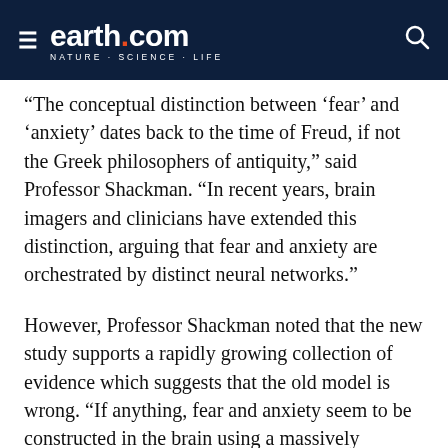earth.com — NATURE · SCIENCE · LIFE
“The conceptual distinction between ‘fear’ and ‘anxiety’ dates back to the time of Freud, if not the Greek philosophers of antiquity,” said Professor Shackman. “In recent years, brain imagers and clinicians have extended this distinction, arguing that fear and anxiety are orchestrated by distinct neural networks.”
However, Professor Shackman noted that the new study supports a rapidly growing collection of evidence which suggests that the old model is wrong. “If anything, fear and anxiety seem to be constructed in the brain using a massively